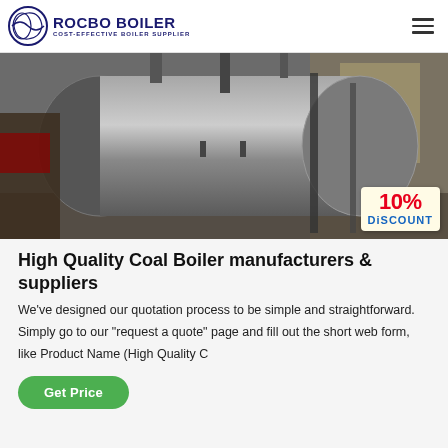ROCBO BOILER — COST-EFFECTIVE BOILER SUPPLIER
[Figure (photo): Industrial boiler equipment inside a factory, with a large horizontal cylindrical silver/steel boiler tank. A '10% DISCOUNT' badge appears in the bottom-right corner of the image.]
High Quality Coal Boiler manufacturers & suppliers
We've designed our quotation process to be simple and straightforward. Simply go to our "request a quote" page and fill out the short web form, like Product Name (High Quality C
Get Price